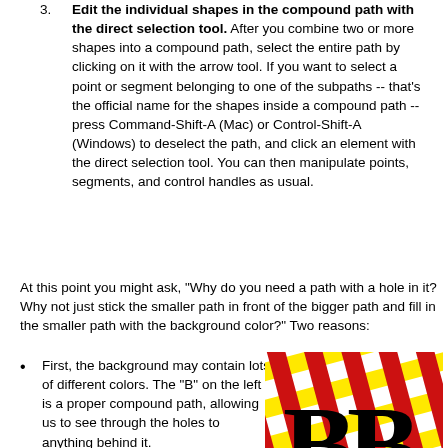3. Edit the individual shapes in the compound path with the direct selection tool. After you combine two or more shapes into a compound path, select the entire path by clicking on it with the arrow tool. If you want to select a point or segment belonging to one of the subpaths -- that's the official name for the shapes inside a compound path -- press Command-Shift-A (Mac) or Control-Shift-A (Windows) to deselect the path, and click an element with the direct selection tool. You can then manipulate points, segments, and control handles as usual.
At this point you might ask, "Why do you need a path with a hole in it? Why not just stick the smaller path in front of the bigger path and fill in the smaller path with the background color?" Two reasons:
First, the background may contain lots of different colors. The "B" on the left is a proper compound path, allowing us to see through the holes to anything behind it.
[Figure (illustration): Two large letter B characters overlapping a red and yellow crosshatch grid pattern, demonstrating compound path transparency.]
Second, working with opaque paths limits your flexibility. Even if you can